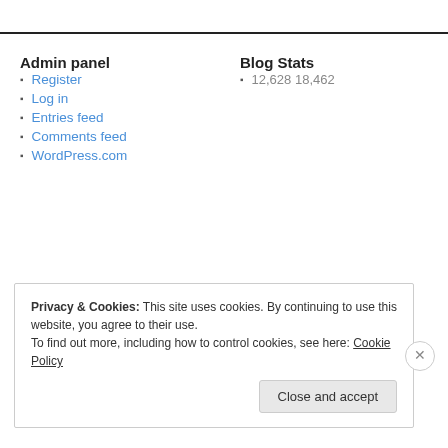Admin panel
Register
Log in
Entries feed
Comments feed
WordPress.com
Blog Stats
12,628 18,462
Privacy & Cookies: This site uses cookies. By continuing to use this website, you agree to their use. To find out more, including how to control cookies, see here: Cookie Policy
Close and accept